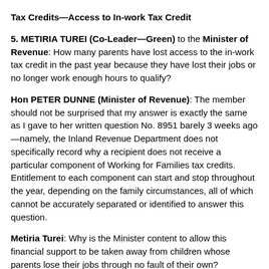Tax Credits—Access to In-work Tax Credit
5. METIRIA TUREI (Co-Leader—Green) to the Minister of Revenue: How many parents have lost access to the in-work tax credit in the past year because they have lost their jobs or no longer work enough hours to qualify?
Hon PETER DUNNE (Minister of Revenue): The member should not be surprised that my answer is exactly the same as I gave to her written question No. 8951 barely 3 weeks ago—namely, the Inland Revenue Department does not specifically record why a recipient does not receive a particular component of Working for Families tax credits. Entitlement to each component can start and stop throughout the year, depending on the family circumstances, all of which cannot be accurately separated or identified to answer this question.
Metiria Turei: Why is the Minister content to allow this financial support to be taken away from children whose parents lose their jobs through no fault of their own?